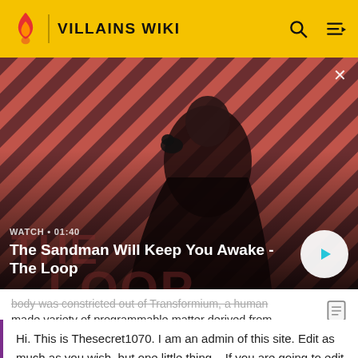VILLAINS WIKI
[Figure (screenshot): Video thumbnail showing a dark-robed figure with a raven on their shoulder against a diagonal red and dark striped background. Video title: The Sandman Will Keep You Awake - The Loop. Duration: 01:40. Watch label shown.]
body was constructed out of Transformium, a human made variety of programmable matter derived from
Hi. This is Thesecret1070. I am an admin of this site. Edit as much as you wish, but one little thing... If you are going to edit a lot, then make yourself a user and login. Other than that, enjoy Villains Wiki!!!